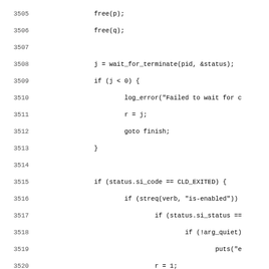Source code listing, lines 3505-3537, C programming language code showing process management logic including wait_for_terminate, status checking, and error handling with goto finish patterns.